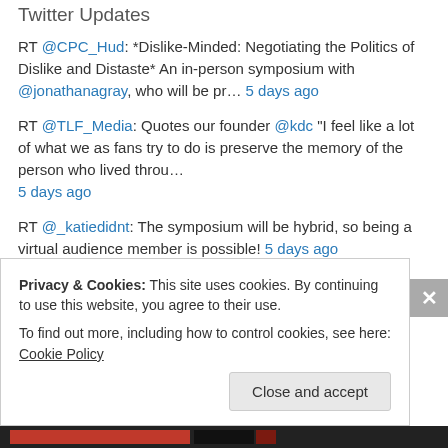Twitter Updates
RT @CPC_Hud: *Dislike-Minded: Negotiating the Politics of Dislike and Distaste* An in-person symposium with @jonathanagray, who will be pr… 5 days ago
RT @TLF_Media: Quotes our founder @kdc "I feel like a lot of what we as fans try to do is preserve the memory of the person who lived throu… 5 days ago
RT @_katiedidnt: The symposium will be hybrid, so being a virtual audience member is possible! 5 days ago
RT @ButNoCigar: Fan studies folks--Does anyone know of work on PMVs, aka picture music videos? #FanStudies 5 days ago
Privacy & Cookies: This site uses cookies. By continuing to use this website, you agree to their use. To find out more, including how to control cookies, see here: Cookie Policy